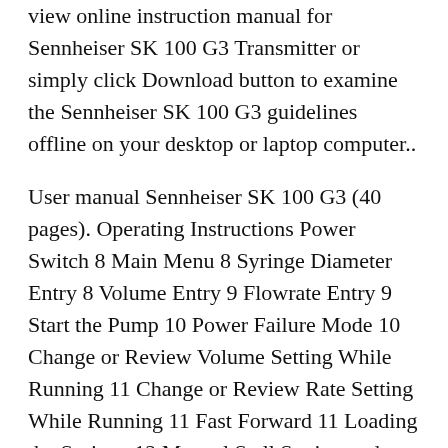view online instruction manual for Sennheiser SK 100 G3 Transmitter or simply click Download button to examine the Sennheiser SK 100 G3 guidelines offline on your desktop or laptop computer..
User manual Sennheiser SK 100 G3 (40 pages). Operating Instructions Power Switch 8 Main Menu 8 Syringe Diameter Entry 8 Volume Entry 9 Flowrate Entry 9 Start the Pump 10 Power Failure Mode 10 Change or Review Volume Setting While Running 11 Change or Review Rate Setting While Running 11 Fast Forward 11 Loading the Syringe 12 Manual Stall Setting and Microliter Syringes 14 NV Ram Failure 14 Fuses 14 Voltage Selector (CE version only) 15, Sennheiser SK 100 G4 Manuals & User Guides.